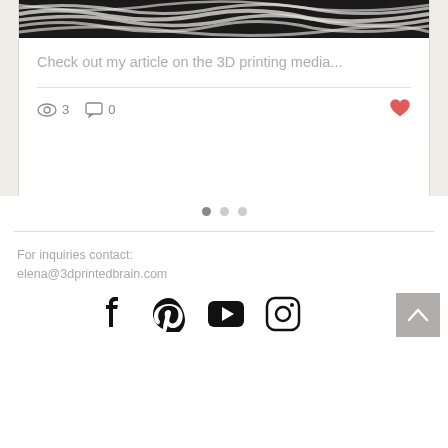[Figure (screenshot): Top portion of a blog post card showing a white yarn/fiber texture image on dark background, with card text 'Check out my article on the 3D printing media...' and stats showing 3 views, 0 comments, and a heart icon]
Check out my article on the 3D printing media...
[Figure (infographic): Pagination dots: one filled gray dot and two lighter dots indicating carousel position]
For inquiries contact:
elena@3dprintedbrain.com
[Figure (infographic): Social media icons row: Facebook, Pinterest, YouTube, Instagram, and a back-to-top button]